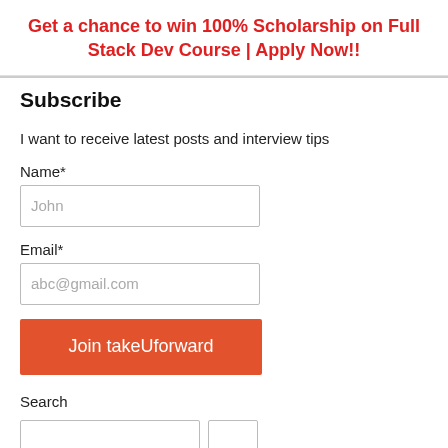Get a chance to win 100% Scholarship on Full Stack Dev Course | Apply Now!!
Subscribe
I want to receive latest posts and interview tips
Name*
John
Email*
abc@gmail.com
Join takeUforward
Search